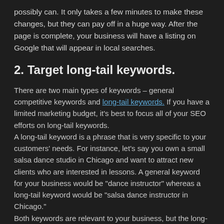possibly can. It only takes a few minutes to make these changes, but they can pay off in a huge way. After the page is complete, your business will have a listing on Google that will appear in local searches.
2. Target long-tail keywords.
There are two main types of keywords – general competitive keywords and long-tail keywords. If you have a limited marketing budget, it's best to focus all of your SEO efforts on long-tail keywords. A long-tail keyword is a phrase that is very specific to your customers' needs. For instance, let's say you own a small salsa dance studio in Chicago and want to attract new clients who are interested in lessons. A general keyword for your business would be “dance instructor” whereas a long-tail keyword would be “salsa dance instructor in Chicago.” Both keywords are relevant to your business, but the long-tail keyword is the phrase you should be targeting. Why? There are probably hundreds of other businesses that are targeting the